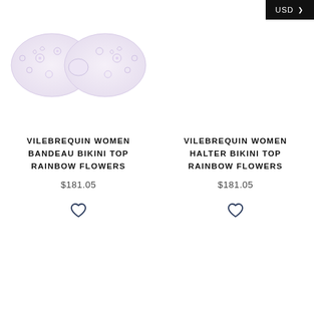USD
[Figure (illustration): Bikini top product image - bandeau style with rainbow flowers print, light lavender/white color]
VILEBREQUIN WOMEN BANDEAU BIKINI TOP RAINBOW FLOWERS
$181.05
[Figure (illustration): Heart/wishlist icon for bandeau bikini top]
[Figure (illustration): Bikini top product image - halter style with rainbow flowers print (no image visible, empty area)]
VILEBREQUIN WOMEN HALTER BIKINI TOP RAINBOW FLOWERS
$181.05
[Figure (illustration): Heart/wishlist icon for halter bikini top]